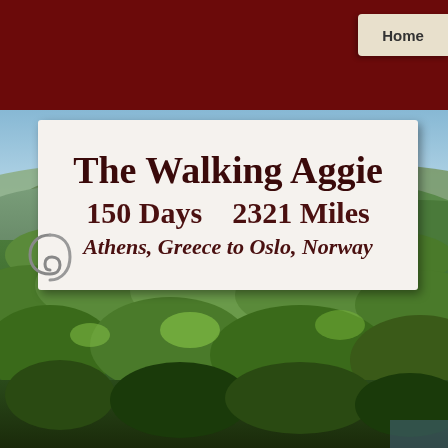Home
The Walking Aggie
150 Days    2321 Miles
Athens, Greece to Oslo, Norway
[Figure (photo): Aerial landscape photo showing dense green forested hills and valleys with a light blue sky on the horizon]